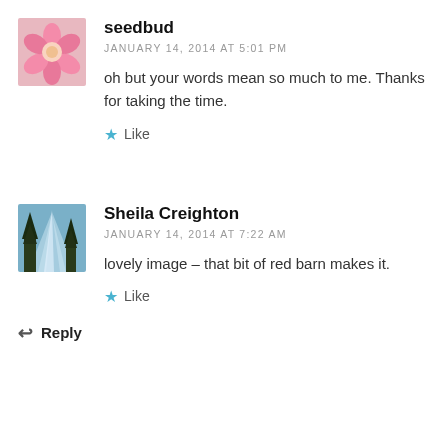[Figure (photo): Avatar image of a pink flower (seedbud)]
seedbud
JANUARY 14, 2014 AT 5:01 PM
oh but your words mean so much to me. Thanks for taking the time.
Like
[Figure (photo): Avatar image of trees with light rays (Sheila Creighton)]
Sheila Creighton
JANUARY 14, 2014 AT 7:22 AM
lovely image – that bit of red barn makes it.
Like
Reply